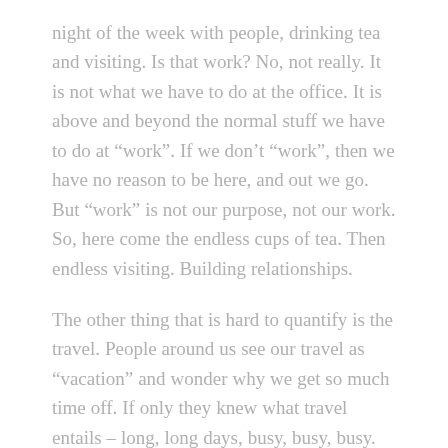night of the week with people, drinking tea and visiting. Is that work? No, not really. It is not what we have to do at the office. It is above and beyond the normal stuff we have to do at "work". If we don't "work", then we have no reason to be here, and out we go. But "work" is not our purpose, not our work. So, here come the endless cups of tea. Then endless visiting. Building relationships.
The other thing that is hard to quantify is the travel. People around us see our travel as "vacation" and wonder why we get so much time off. If only they knew what travel entails – long, long days, busy, busy, busy. And then we come home – not to a rest, but to catching up the work that piled up while we were gone.